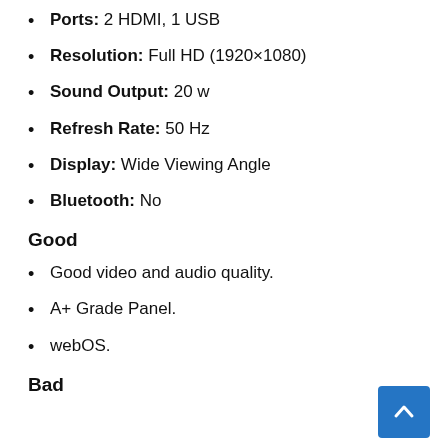Ports: 2 HDMI, 1 USB
Resolution: Full HD (1920×1080)
Sound Output: 20 w
Refresh Rate: 50 Hz
Display: Wide Viewing Angle
Bluetooth: No
Good
Good video and audio quality.
A+ Grade Panel.
webOS.
Bad